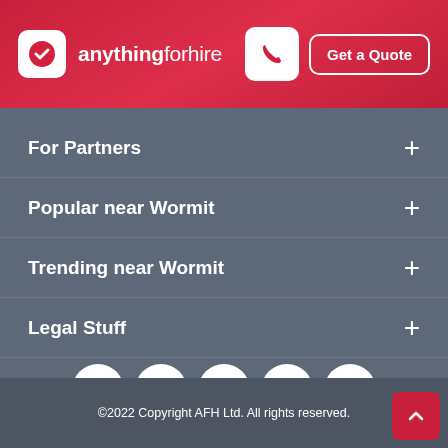[Figure (logo): anythingforhire logo with phone icon and Get a Quote button in red header]
For Partners +
Popular near Wormit +
Trending near Wormit +
Legal Stuff +
[Figure (infographic): Social media icons row: Facebook, Twitter, Instagram, LinkedIn, YouTube]
©2022 Copyright AFH Ltd. All rights reserved.